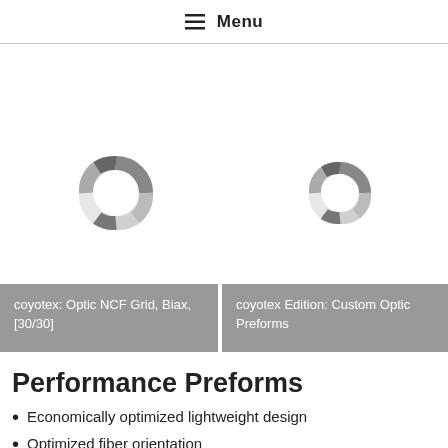≡ Menu
[Figure (donut-chart): Two donut/pie loading spinner icons side by side, shown in grayscale with segmented arcs in various shades of grey and white]
coyotex: Optic NCF Grid, Biax, [30/30]
coyotex Edition: Custom Optic Preforms
Performance Preforms
Economically optimized lightweight design
Optimized fiber orientation